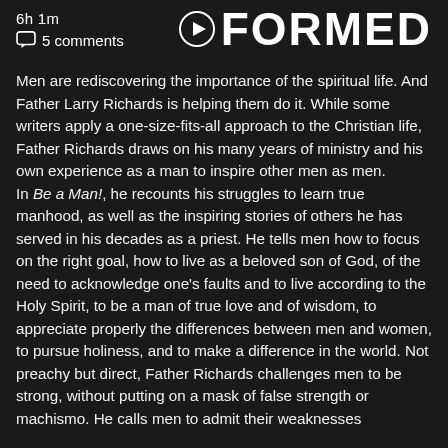6h 1m
FORMED
5 comments
Men are rediscovering the importance of the spiritual life. And Father Larry Richards is helping them do it. While some writers apply a one-size-fits-all approach to the Christian life, Father Richards draws on his many years of ministry and his own experience as a man to inspire other men as men.
In Be a Man!, he recounts his struggles to learn true manhood, as well as the inspiring stories of others he has served in his decades as a priest. He tells men how to focus on the right goal, how to live as a beloved son of God, of the need to acknowledge one's faults and to live according to the Holy Spirit, to be a man of true love and of wisdom, to appreciate properly the differences between men and women, to pursue holiness, and to make a difference in the world. Not preachy but direct, Father Richards challenges men to be strong, without putting on a mask of false strength or machismo. He calls men to admit their weaknesses